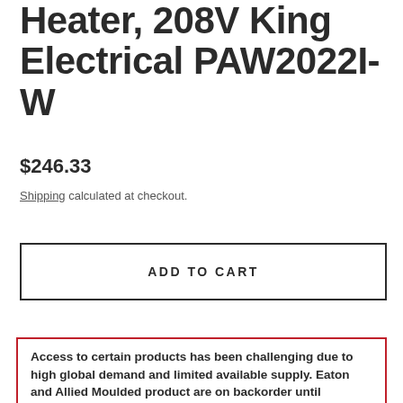Heater, 208V King Electrical PAW2022I-W
$246.33
Shipping calculated at checkout.
ADD TO CART
Access to certain products has been challenging due to high global demand and limited available supply. Eaton and Allied Moulded product are on backorder until